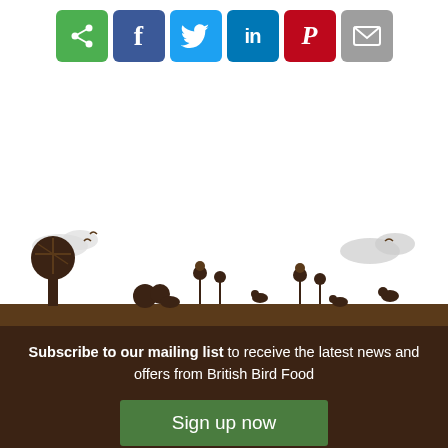[Figure (infographic): Social sharing buttons row: share (green), Facebook (blue), Twitter (light blue), LinkedIn (dark blue), Pinterest (red), Email (grey)]
[Figure (illustration): Nature scene silhouette illustration: trees, birds, flowers, animals, clouds on white background with brown ground]
Subscribe to our mailing list to receive the latest news and offers from British Bird Food
[Figure (infographic): Green 'Sign up now' button]
[Figure (infographic): Green footer bar with white circular icon and FREE DELIVERY* text]